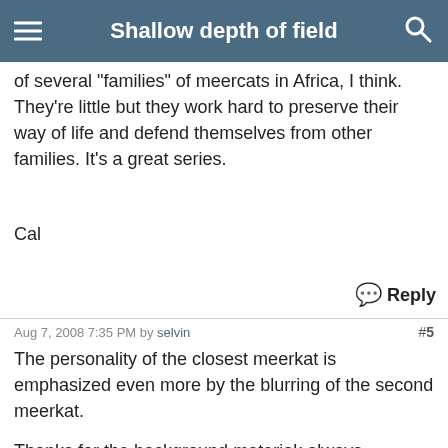Shallow depth of field
and highly territorial. Animal Planet (cable channel) has been running a series called "Meerkat Manor" for the last several years. This show follows the daily life and struggles of several "families" of meercats in Africa, I think. They're little but they work hard to preserve their way of life and defend themselves from other families. It's a great series.
Cal
Reply
Aug 7, 2008 7:35 PM by selvin #5
The personality of the closest meerkat is emphasized even more by the blurring of the second meerkat.

Thanks for the background materiak always interesting to read.

Aloha